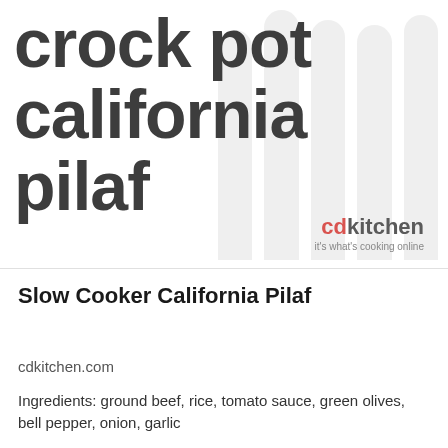[Figure (illustration): Recipe card cover image with large bold text 'crock pot california pilaf' on white background with decorative vertical rounded bars/columns on the right side, and cdkitchen logo with tagline 'it's what's cooking online' in the bottom right]
Slow Cooker California Pilaf
cdkitchen.com
Ingredients: ground beef, rice, tomato sauce, green olives, bell pepper, onion, garlic